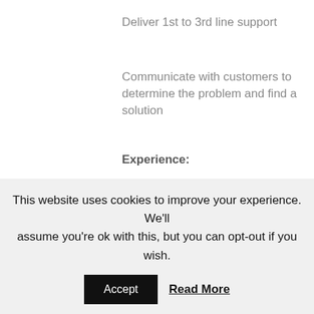Deliver 1st to 3rd line support
Communicate with customers to determine the problem and find a solution
Experience:
Must have Dynamics NAV/Dynamics 365 Business Central
Developer Experience
Further Technical experience with C/AL
This website uses cookies to improve your experience. We'll assume you're ok with this, but you can opt-out if you wish.